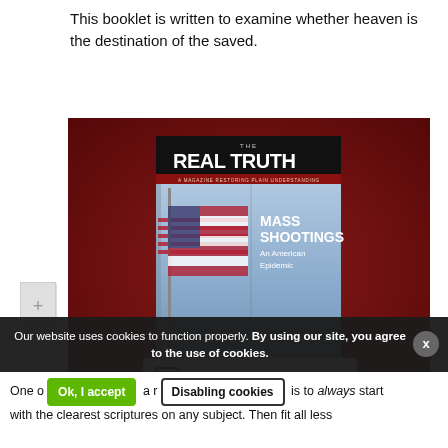This booklet is written to examine whether heaven is the destination of the saved.
[Figure (screenshot): Magazine cover for 'The Real Truth' magazine with headline 'MASS SHOOTINGS An American Epidemic' on a dark red background, with an American flag image. Below the magazine cover is a Subscribe button with RT logo and dropdown arrow.]
Our website uses cookies to function properly. By using our site, you agree to the use of cookies.
One of a rule is to always start with the clearest scriptures on any subject. Then fit all less